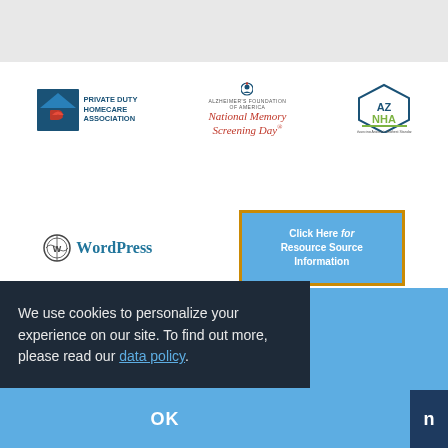[Figure (logo): Gray header band at top of page]
[Figure (logo): Private Duty Homecare Association logo with house icon and text]
[Figure (logo): Alzheimer's Foundation of America National Memory Screening Day logo]
[Figure (logo): AZNHA Arizona Nursing Home Association logo]
[Figure (logo): WordPress logo]
[Figure (infographic): Click Here for Resource Source Information button in blue with gold border]
We use cookies to personalize your experience on our site. To find out more, please read our data policy.
OK